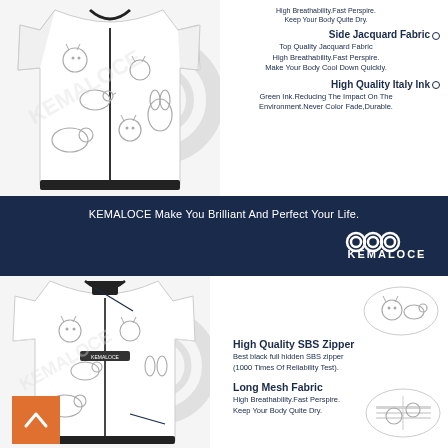[Figure (photo): Top half: white cycling jersey with cat/animal print pattern shown from front, with product feature callouts on the right side including Side Jacquard Fabric and High Quality Italy Ink details]
Keep Your Body Quite Dry.
Side Jacquard Fabric
Top Quality Jacquard Fabric
High Breathability.Fast Perspire.
Make Your Body Cool Down Quickly.
High Quality Italy Ink
Green Ink.Reducing The Impact On The Environment.Never Color Fade,Durable.
KEMALOCE Make You Brilliant And Perfect Your Life.
[Figure (logo): KEMALOCE brand logo with chain link icon]
[Figure (photo): Bottom half: white cycling jersey with cat/animal print pattern shown from front with zipper detail and oval callouts showing fabric close-ups, with feature descriptions for High Quality SBS Zipper and Long Mesh Fabric]
High Quality SBS Zipper
Best black full hidden SBS zipper
(1000 Times Of Reliability Test).
Long Mesh Fabric
High Breathability.Fast Perspire.
Keep Your Body Quite Dry.